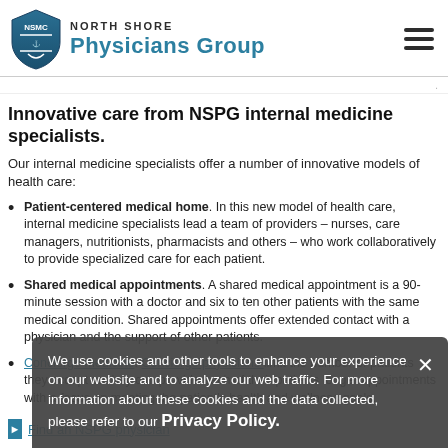NORTH SHORE Physicians Group
Innovative care from NSPG internal medicine specialists.
Our internal medicine specialists offer a number of innovative models of health care:
Patient-centered medical home. In this new model of health care, internal medicine specialists lead a team of providers – nurses, care managers, nutritionists, pharmacists and others – who work collaboratively to provide specialized care for each patient.
Shared medical appointments. A shared medical appointment is a 90-minute session with a doctor and six to ten other patients with the same medical condition. Shared appointments offer extended contact with a physician and the support of other patients.
Concierge medicine. Concierge physicians limit the number of patients they accept so they can provide each of their patients longer appointments with a focus on meeting the patient's health and wellness goals.
Find an NSPG physician
We use cookies and other tools to enhance your experience on our website and to analyze our web traffic. For more information about these cookies and the data collected, please refer to our Privacy Policy.